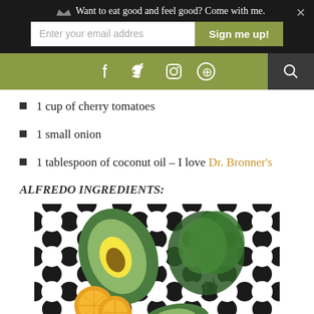Want to eat good and feel good? Come with me.
1 cup of cherry tomatoes
1 small onion
1 tablespoon of coconut oil – I love Dr. Bronner's
ALFREDO INGREDIENTS:
[Figure (photo): Overhead photo of avocado half, spinach leaves, and orange citrus slices on a black and white geometric tile pattern background]